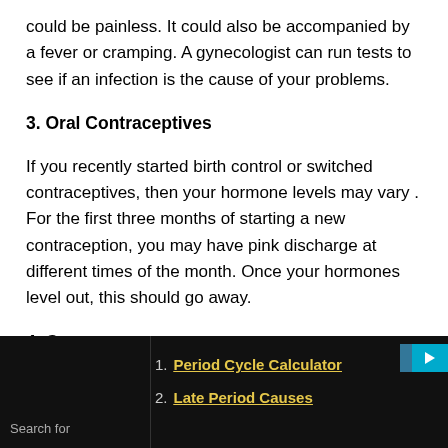could be painless. It could also be accompanied by a fever or cramping. A gynecologist can run tests to see if an infection is the cause of your problems.
3. Oral Contraceptives
If you recently started birth control or switched contraceptives, then your hormone levels may vary . For the first three months of starting a new contraception, you may have pink discharge at different times of the month. Once your hormones level out, this should go away.
4. Cancer
No... text partially visible/faded
Search for
1. Period Cycle Calculator
2. Late Period Causes